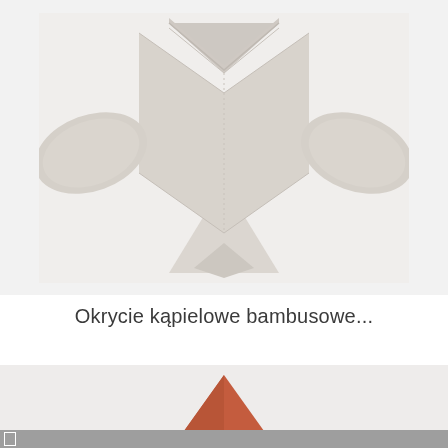[Figure (photo): Top-down view of a light beige/cream bamboo baby bath towel with hood and wing-like flaps spread out on a white/light gray background.]
Okrycie kąpielowe bambusowe...
[Figure (photo): Partial view of the top of a reddish-orange or terracotta baby product, only the peak is visible at the bottom of the frame.]